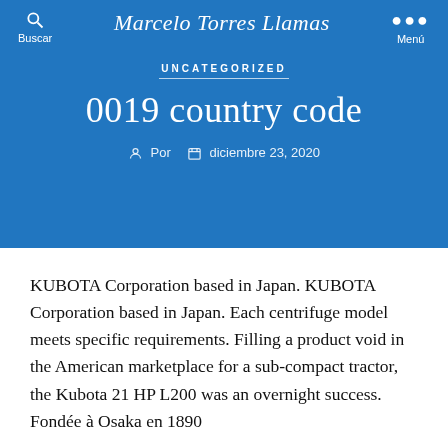Marcelo Torres Llamas
UNCATEGORIZED
0019 country code
Por  diciembre 23, 2020
KUBOTA Corporation based in Japan. KUBOTA Corporation based in Japan. Each centrifuge model meets specific requirements. Filling a product void in the American marketplace for a sub-compact tractor, the Kubota 21 HP L200 was an overnight success. Fondée à Osaka en 1890